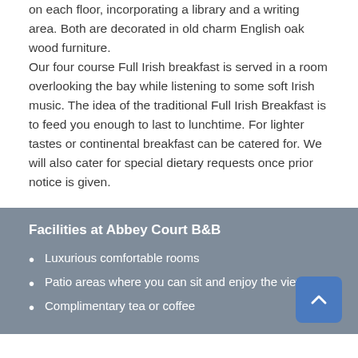on each floor, incorporating a library and a writing area. Both are decorated in old charm English oak wood furniture. Our four course Full Irish breakfast is served in a room overlooking the bay while listening to some soft Irish music. The idea of the traditional Full Irish Breakfast is to feed you enough to last to lunchtime. For lighter tastes or continental breakfast can be catered for. We will also cater for special dietary requests once prior notice is given.
Facilities at Abbey Court B&B
Luxurious comfortable rooms
Patio areas where you can sit and enjoy the view
Complimentary tea or coffee